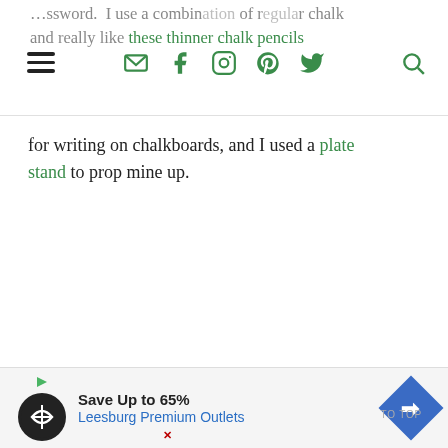…ssword. I use a combination of regular chalk and really like these thinner chalk pencils
for writing on chalkboards, and I used a plate stand to prop mine up.
[Figure (other): Advertisement banner: Save Up to 65% Leesburg Premium Outlets with logo and navigation arrow icon]